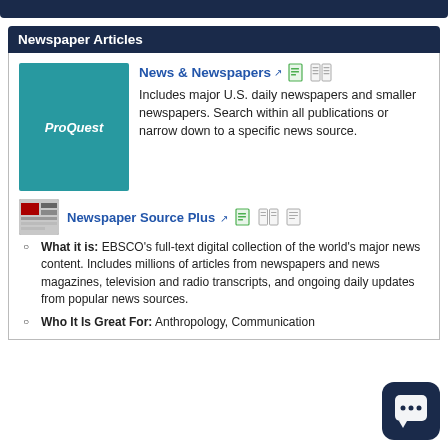Newspaper Articles
News & Newspapers [external link] [icons]
Includes major U.S. daily newspapers and smaller newspapers. Search within all publications or narrow down to a specific news source.
Newspaper Source Plus [external link] [icons]
What it is: EBSCO's full-text digital collection of the world's major news content. Includes millions of articles from newspapers and news magazines, television and radio transcripts, and ongoing daily updates from popular news sources.
Who It Is Great For: Anthropology, Communication